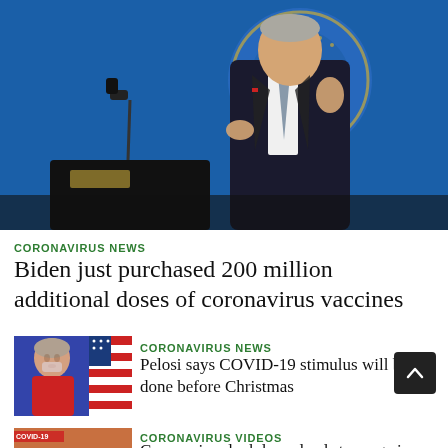[Figure (photo): President Biden speaking at a podium with the Presidential seal on it and a blue backdrop with Presidential seal, gesturing with one hand raised]
CORONAVIRUS NEWS
Biden just purchased 200 million additional doses of coronavirus vaccines
[Figure (photo): Woman in red dress speaking, with an American flag in the background]
CORONAVIRUS NEWS
Pelosi says COVID-19 stimulus will be done before Christmas
[Figure (photo): Person with a COVID-19 label overlay in bottom left corner]
CORONAVIRUS VIDEOS
Coronavirus lockdown leads to surge in